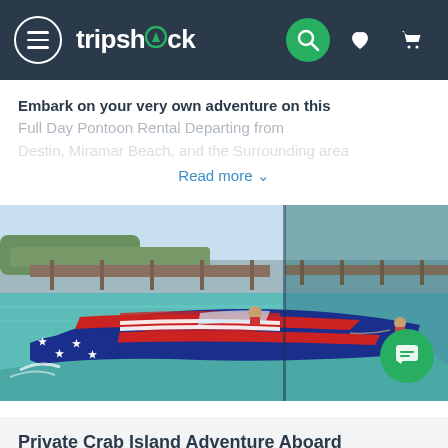tripshock — navigation bar with menu, search, heart, cart icons
Embark on your very own adventure on this Full Day Pontoon Rental Departing from
Read more ∨
[Figure (photo): A patriotic red-white-and-blue speedboat decorated with American flag graphics racing across turquoise water near a pier, with passengers aboard. A second water sport activity is visible in the background on the right side of the split image.]
Private Crab Island Adventure Aboard